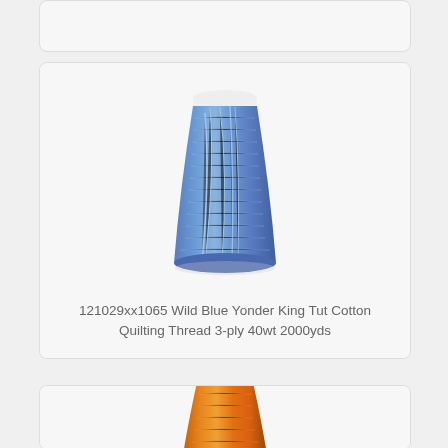[Figure (photo): Top portion of a product card, partially visible, cut off at top of page]
[Figure (photo): A spool of blue variegated cotton quilting thread (Wild Blue Yonder) - King Tut brand, large cone shape with white top cap]
121029xx1065 Wild Blue Yonder King Tut Cotton Quilting Thread 3-ply 40wt 2000yds
[Figure (photo): Top portion of a second product card showing bottom of an orange/gold variegated thread spool, partially visible]